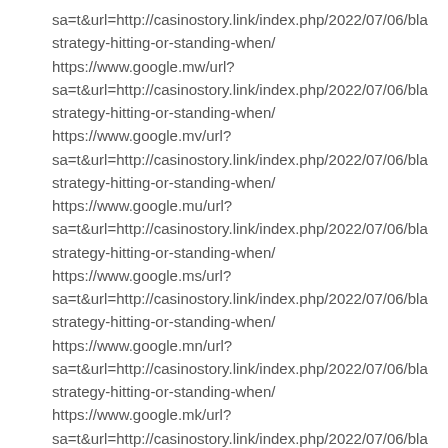sa=t&url=http://casinostory.link/index.php/2022/07/06/bla strategy-hitting-or-standing-when/
https://www.google.mw/url? sa=t&url=http://casinostory.link/index.php/2022/07/06/bla strategy-hitting-or-standing-when/
https://www.google.mv/url? sa=t&url=http://casinostory.link/index.php/2022/07/06/bla strategy-hitting-or-standing-when/
https://www.google.mu/url? sa=t&url=http://casinostory.link/index.php/2022/07/06/bla strategy-hitting-or-standing-when/
https://www.google.ms/url? sa=t&url=http://casinostory.link/index.php/2022/07/06/bla strategy-hitting-or-standing-when/
https://www.google.mn/url? sa=t&url=http://casinostory.link/index.php/2022/07/06/bla strategy-hitting-or-standing-when/
https://www.google.mk/url? sa=t&url=http://casinostory.link/index.php/2022/07/06/bla strategy-hitting-or-standing-when/